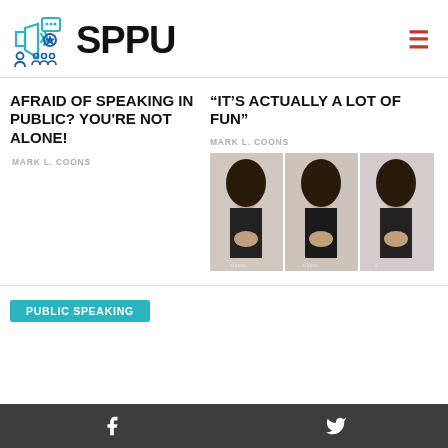SPPU
AFRAID OF SPEAKING IN PUBLIC? YOU'RE NOT ALONE!
MARK L. COONS
“IT’S ACTUALLY A LOT OF FUN”
MARK L. COONS
[Figure (photo): Three side-by-side video stills of a young woman with long dark hair speaking or gesturing with hands pressed together, appearing to be from a video about public speaking.]
PUBLIC SPEAKING
Facebook and Twitter social media icons